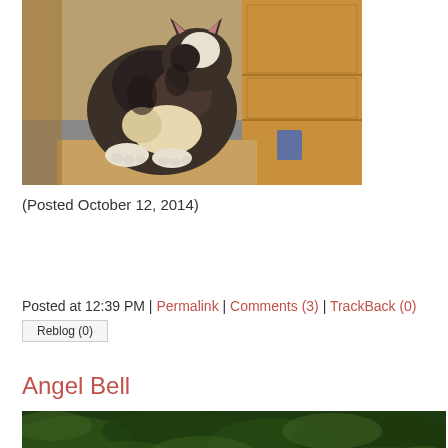[Figure (photo): A fluffy calico/tabby cat sitting on a cardboard box, viewed from behind/side, with wooden furniture in the background.]
(Posted October 12, 2014)
Posted at 12:39 PM | Permalink | Comments (3) | TrackBack (0)
Reblog (0)
Angel Bell
[Figure (photo): Bottom portion of a photo showing green Christmas tree branches/garland.]